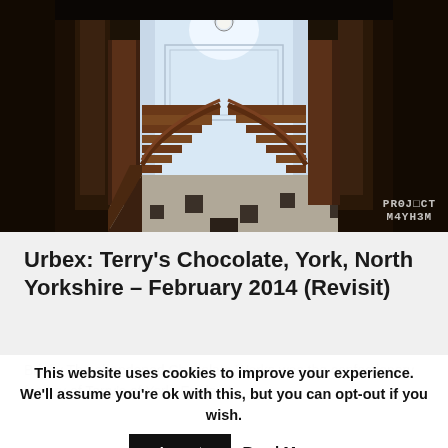[Figure (photo): Interior photograph of an abandoned grand staircase with ornate dark wood banisters, marble checkered floor tiles, tall wooden columns, and a glowing circular clock or light at the top center. Watermark reads PROJECT M4YH3M in bottom right corner.]
Urbex: Terry's Chocolate, York, North Yorkshire – February 2014 (Revisit)
Briefly The abandoned Chocolate Works was the confectionery factory of Terry's of York, England.
This website uses cookies to improve your experience. We'll assume you're ok with this, but you can opt-out if you wish.